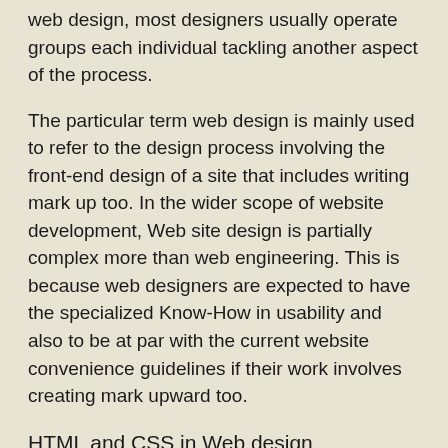web design, most designers usually operate groups each individual tackling another aspect of the process.
The particular term web design is mainly used to refer to the design process involving the front-end design of a site that includes writing mark up too. In the wider scope of website development, Web site design is partially complex more than web engineering. This is because web designers are expected to have the specialized Know-How in usability and also to be at par with the current website convenience guidelines if their work involves creating mark upward too.
HTML and CSS in Web design
HyperText Markup Language commonly known as HTML, plays a huge role in web design since it gives this content in the website, is actually meaning and structure by defining what the content is, for instance, paragraphs, images, headings and so on. Cascading Style Linens or what is commonly termed as CSS, is a display language used to enhance the appearance of the content in the site for example use of colors and fonts.